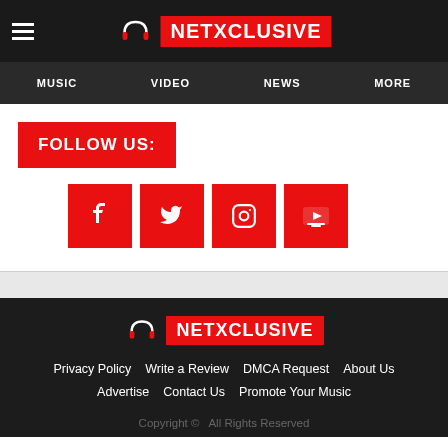NETXCLUSIVE — MUSIC | VIDEO | NEWS | MORE
FOLLOW US:
[Figure (infographic): Four red social media icon buttons: Facebook (f), Twitter (bird), Instagram (camera), YouTube]
[Figure (logo): NETXCLUSIVE logo in footer]
Privacy Policy   Write a Review   DMCA Request   About Us   Advertise   Contact Us   Promote Your Music   Copyright ©   All Rights Reserved